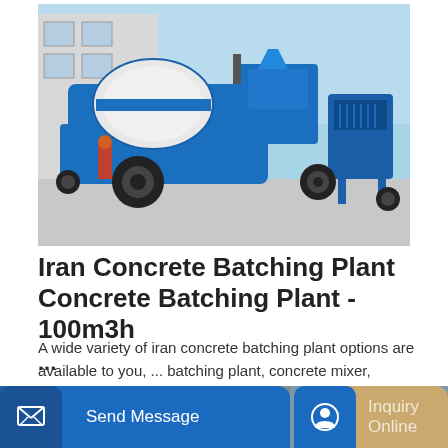[Figure (photo): Blue and white mobile concrete batching plant / pump machine parked outdoors on a concrete surface in front of a building. The machine has a large cylindrical drum and industrial components, painted blue with white accents.]
Iran Concrete Batching Plant Concrete Batching Plant - 100m3h ...
A wide variety of iran concrete batching plant options are available to you, ... batching plant, concrete mixer, concrete trailer pump, concrete boom pump ...
Learn More
Send Message
Inquiry Online